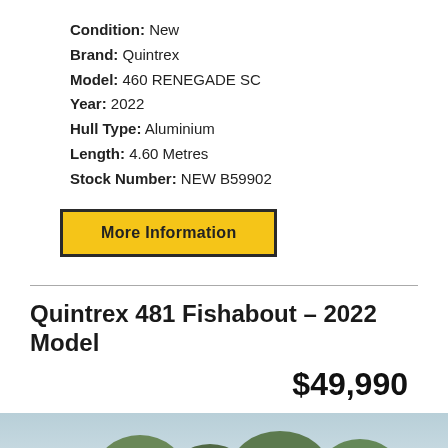Condition: New
Brand: Quintrex
Model: 460 RENEGADE SC
Year: 2022
Hull Type: Aluminium
Length: 4.60 Metres
Stock Number: NEW B59902
More Information
Quintrex 481 Fishabout - 2022 Model
$49,990
[Figure (photo): Photo of a Quintrex 481 Fishabout boat on water with trees in background, partially visible at bottom of page. A reCAPTCHA privacy badge overlays the bottom right corner.]